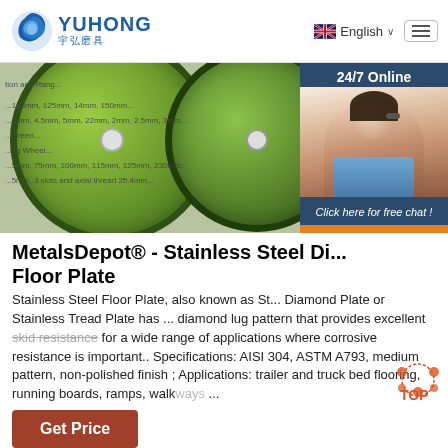YUHONG 宇弘磨具 | English
[Figure (photo): Green abrasive cutting disc wheels, product display photo with text overlay listing specifications. A chat widget overlay appears on the right with a female customer service agent wearing a headset, '24/7 Online' text, 'Click here for free chat!' text, and 'QUOTATION' orange button.]
MetalsDepot® - Stainless Steel Di... Floor Plate
Stainless Steel Floor Plate, also known as St... Diamond Plate or Stainless Tread Plate has ... diamond lug pattern that provides excellent skid resistance for a wide range of applications where corrosive resistance is important.. Specifications: AISI 304, ASTM A793, medium pattern, non-polished finish ; Applications: trailer and truck bed flooring, running boards, ramps, walkways ...
[Figure (screenshot): Orange 'Get Price' button at bottom left]